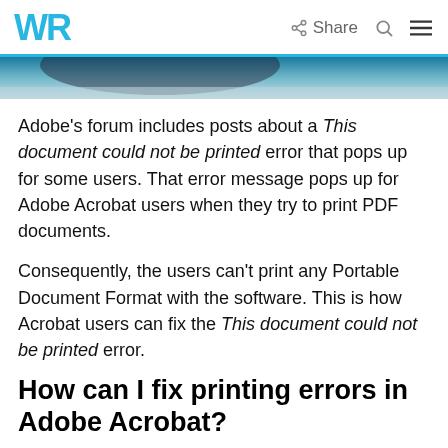WR | Share
[Figure (photo): Partial photo of a device, dark tones with blue/teal gradient at top]
Adobe’s forum includes posts about a This document could not be printed error that pops up for some users. That error message pops up for Adobe Acrobat users when they try to print PDF documents.
Consequently, the users can’t print any Portable Document Format with the software. This is how Acrobat users can fix the This document could not be printed error.
How can I fix printing errors in Adobe Acrobat?
1. Restart Adobe Acrobat